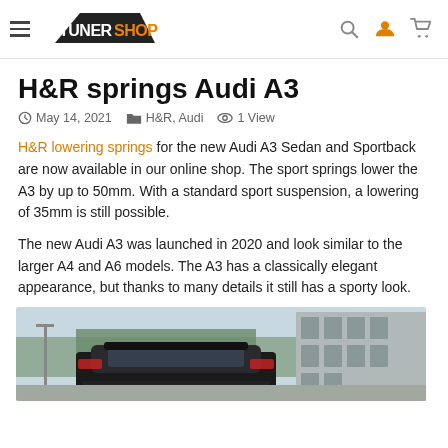TunerShop
H&R springs Audi A3
May 14, 2021  H&R, Audi  1 View
H&R lowering springs for the new Audi A3 Sedan and Sportback are now available in our online shop. The sport springs lower the A3 by up to 50mm. With a standard sport suspension, a lowering of 35mm is still possible.
The new Audi A3 was launched in 2020 and look similar to the larger A4 and A6 models. The A3 has a classically elegant appearance, but thanks to many details it still has a sporty look.
[Figure (photo): Photo of an Audi A3 from the rear, in a parking area with trees and a building in background, winter scene.]